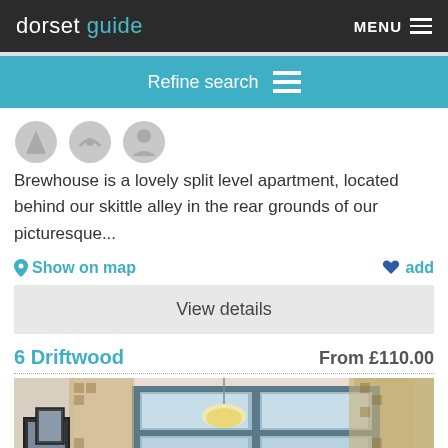dorset guide | MENU
Refine search
[Figure (illustration): Three circular grey icons]
Brewhouse is a lovely split level apartment, located behind our skittle alley in the rear grounds of our picturesque...
Show on map | add
View details
6 Driftwood
From £110.00
[Figure (photo): Interior room photo showing large windows with checkered curtains and a hanging light fixture]